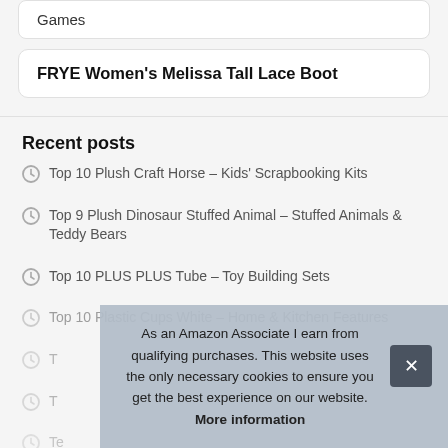Games
FRYE Women's Melissa Tall Lace Boot
Recent posts
Top 10 Plush Craft Horse – Kids' Scrapbooking Kits
Top 9 Plush Dinosaur Stuffed Animal – Stuffed Animals & Teddy Bears
Top 10 PLUS PLUS Tube – Toy Building Sets
Top 10 Plastic Cups White – Home & Kitchen Features
T…
T…
T…
As an Amazon Associate I earn from qualifying purchases. This website uses the only necessary cookies to ensure you get the best experience on our website. More information